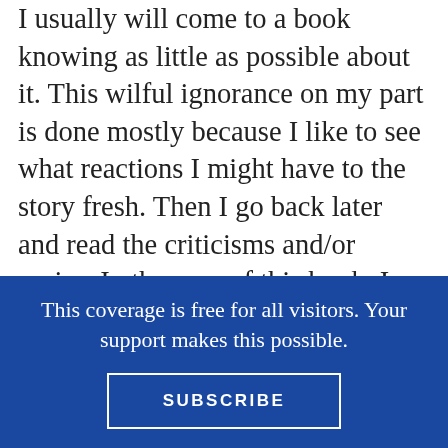I usually will come to a book knowing as little as possible about it. This wilful ignorance on my part is done mostly because I like to see what reactions I might have to the story fresh. Then I go back later and read the criticisms and/or praise. In the case of this book, I kept wondering throughout the story if it was set in Minneapolis/St. Paul. There was just something about the river. Turns out, yes! Fair play to illustrator Thi Bui, because this is a recognizably Minnesotan landscape (I lived there for three years or so and it clearly made an impression). I'm including this book here today because it's one of the few books I've seen to address Vietnamese immigrants in the 70s and 80s.
This coverage is free for all visitors. Your support makes this possible.
SUBSCRIBE